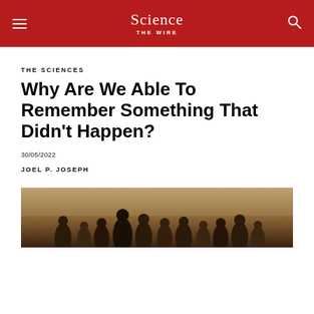Science The Wire
THE SCIENCES
Why Are We Able To Remember Something That Didn't Happen?
30/05/2022
JOEL P. JOSEPH
[Figure (photo): Silhouettes of multiple human figures against a hazy, warm-toned background]